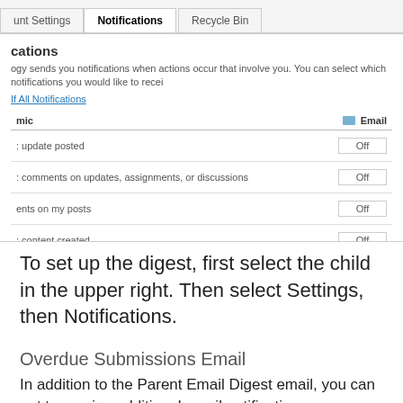[Figure (screenshot): Screenshot of a notifications settings page showing tabs: Account Settings, Notifications (active), Recycle Bin. Below shows a notifications table with rows: 'update posted' Off, 'comments on updates, assignments, or discussions' Off, 'ents on my posts' Off, 'content created' Off. A link 'If All Notifications' appears above the table.]
To set up the digest, first select the child in the upper right. Then select Settings, then Notifications.
Overdue Submissions Email
In addition to the Parent Email Digest email, you can opt to receive additional email notifications